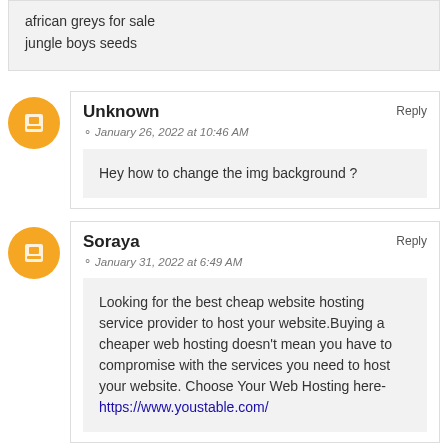african greys for sale
jungle boys seeds
Unknown
January 26, 2022 at 10:46 AM
Reply
Hey how to change the img background ?
Soraya
January 31, 2022 at 6:49 AM
Reply
Looking for the best cheap website hosting service provider to host your website.Buying a cheaper web hosting doesn't mean you have to compromise with the services you need to host your website. Choose Your Web Hosting here-https://www.youstable.com/